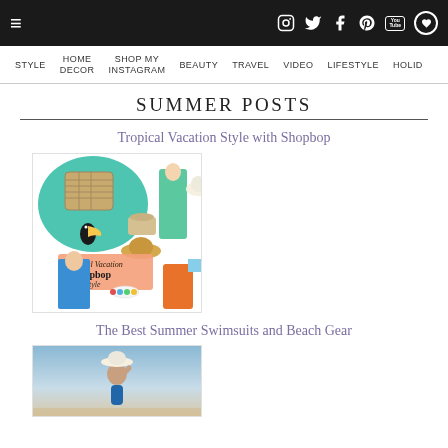Navigation bar with hamburger menu and social icons (Instagram, Twitter, Facebook, Pinterest, YouTube, heart)
STYLE | HOME DECOR | SHOP MY INSTAGRAM | BEAUTY | TRAVEL | VIDEO | LIFESTYLE | HOLID…
SUMMER POSTS
Tropical Vacation Style with Shopbop
[Figure (photo): Collage image for Tropical Vacation Style with Shopbop post, showing tropical fashion items including a beach bag, hat, swimsuit, sandals, and colorful accessories with text overlay reading 'Tropical Vacation shopbop Style']
The Best Summer Swimsuits and Beach Gear
[Figure (photo): Photo of a woman in swimsuit wearing a white hat against a blue sky background, for The Best Summer Swimsuits and Beach Gear post]